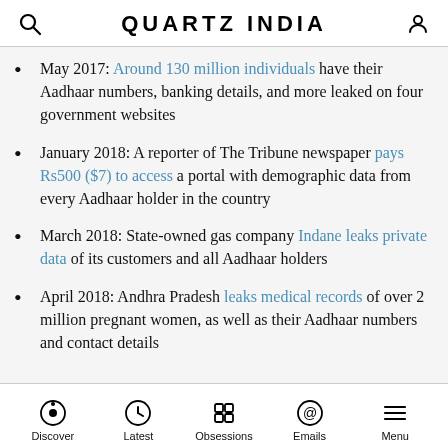QUARTZ INDIA
May 2017: Around 130 million individuals have their Aadhaar numbers, banking details, and more leaked on four government websites
January 2018: A reporter of The Tribune newspaper pays Rs500 ($7) to access a portal with demographic data from every Aadhaar holder in the country
March 2018: State-owned gas company Indane leaks private data of its customers and all Aadhaar holders
April 2018: Andhra Pradesh leaks medical records of over 2 million pregnant women, as well as their Aadhaar numbers and contact details
Discover | Latest | Obsessions | Emails | Menu